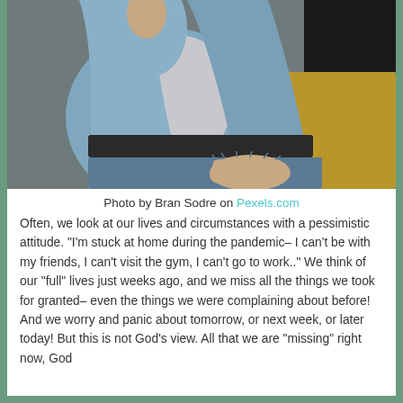[Figure (photo): A person sitting in a yellow chair wearing a denim jacket and ripped jeans, with one arm raised. The photo is cropped to show the torso and legs only.]
Photo by Bran Sodre on Pexels.com
Often, we look at our lives and circumstances with a pessimistic attitude. “I’m stuck at home during the pandemic– I can’t be with my friends, I can’t visit the gym, I can’t go to work..” We think of our “full” lives just weeks ago, and we miss all the things we took for granted– even the things we were complaining about before! And we worry and panic about tomorrow, or next week, or later today! But this is not God’s view. All that we are “missing” right now, God